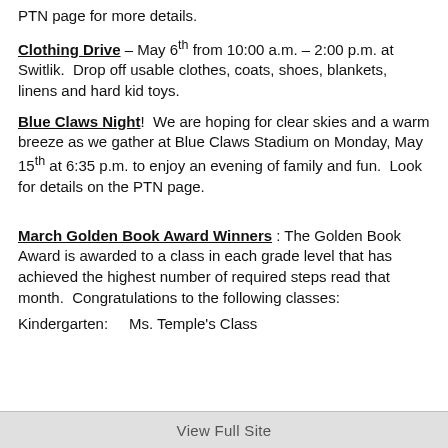PTN page for more details.
Clothing Drive – May 6th from 10:00 a.m. – 2:00 p.m. at Switlik.  Drop off usable clothes, coats, shoes, blankets, linens and hard kid toys.
Blue Claws Night!  We are hoping for clear skies and a warm breeze as we gather at Blue Claws Stadium on Monday, May 15th at 6:35 p.m. to enjoy an evening of family and fun.  Look for details on the PTN page.
March Golden Book Award Winners : The Golden Book Award is awarded to a class in each grade level that has achieved the highest number of required steps read that month.  Congratulations to the following classes:
Kindergarten:     Ms. Temple's Class
View Full Site